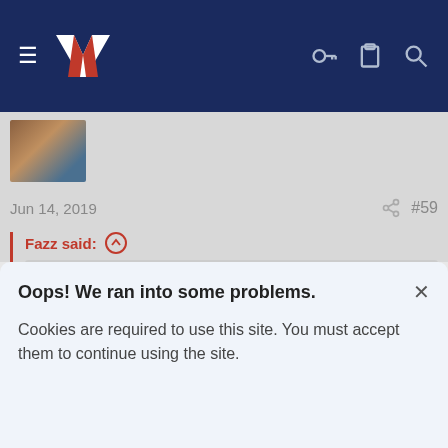[Figure (screenshot): Navigation bar with hamburger menu, NZ logo, key icon, clipboard icon, and search icon on dark navy background]
[Figure (photo): Small thumbnail image of a sports scene]
Jun 14, 2019
#59
Fazz said: ↑
I hope we get flogged purely to ruin Blair's undeserved 300th game. Not sorry.
No thanks
Navigator
Oops! We ran into some problems.
Cookies are required to use this site. You must accept them to continue using the site.